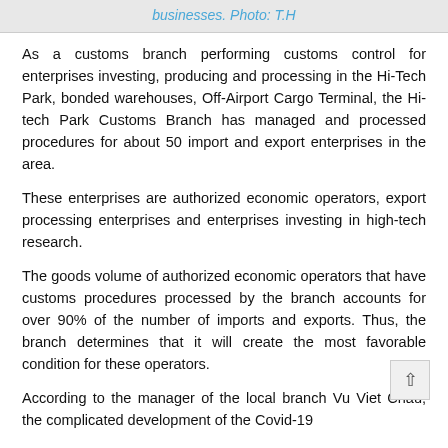businesses. Photo: T.H
As a customs branch performing customs control for enterprises investing, producing and processing in the Hi-Tech Park, bonded warehouses, Off-Airport Cargo Terminal, the Hi-tech Park Customs Branch has managed and processed procedures for about 50 import and export enterprises in the area.
These enterprises are authorized economic operators, export processing enterprises and enterprises investing in high-tech research.
The goods volume of authorized economic operators that have customs procedures processed by the branch accounts for over 90% of the number of imports and exports. Thus, the branch determines that it will create the most favorable condition for these operators.
According to the manager of the local branch Vu Viet Chau, the complicated development of the Covid-19